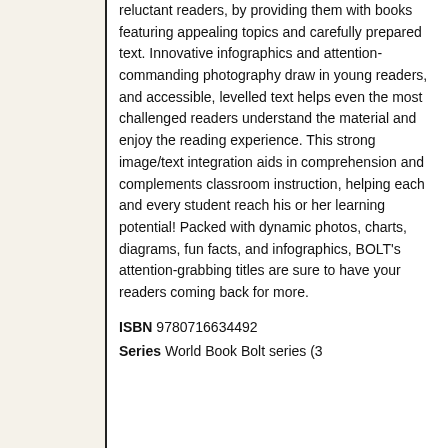reluctant readers, by providing them with books featuring appealing topics and carefully prepared text. Innovative infographics and attention-commanding photography draw in young readers, and accessible, levelled text helps even the most challenged readers understand the material and enjoy the reading experience. This strong image/text integration aids in comprehension and complements classroom instruction, helping each and every student reach his or her learning potential! Packed with dynamic photos, charts, diagrams, fun facts, and infographics, BOLT's attention-grabbing titles are sure to have your readers coming back for more.
ISBN 9780716634492
Series World Book Bolt series (3